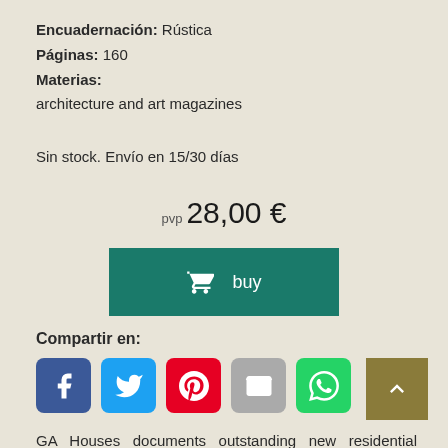Encuadernación: Rústica
Páginas: 160
Materias:
architecture and art magazines
Sin stock. Envío en 15/30 días
pvp 28,00 €
[Figure (other): Buy button with shopping cart icon and 'buy' text on teal/dark green background]
Compartir en:
[Figure (other): Social media sharing icons: Facebook, Twitter, Pinterest, Email, WhatsApp]
[Figure (other): Scroll to top button with upward arrow, olive/gold background]
GA Houses documents outstanding new residential